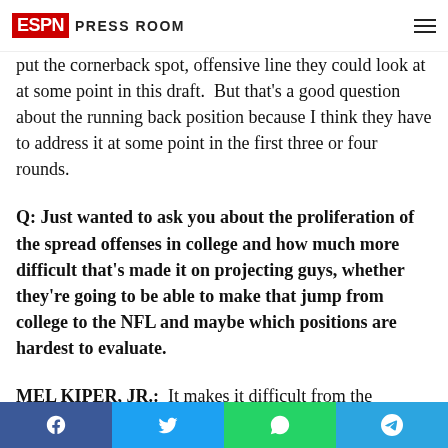ESPN PRESS ROOM
put the cornerback spot, offensive line they could look at at some point in this draft.  But that's a good question about the running back position because I think they have to address it at some point in the first three or four rounds.
Q: Just wanted to ask you about the proliferation of the spread offenses in college and how much more difficult that's made it on projecting guys, whether they're going to be able to make that jump from college to the NFL and maybe which positions are hardest to evaluate.
MEL KIPER, JR.:  It makes it difficult from the standpoint of you're talking about a situation at linebacker where they've got to cover.  It's not the old